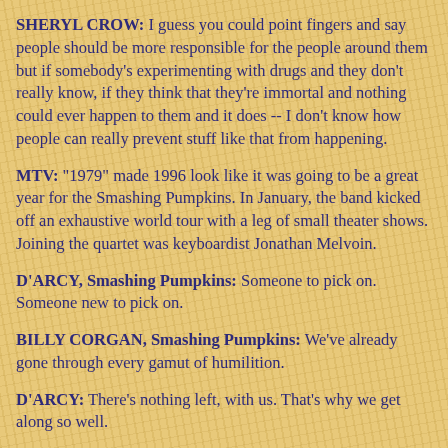SHERYL CROW: I guess you could point fingers and say people should be more responsible for the people around them but if somebody's experimenting with drugs and they don't really know, if they think that they're immortal and nothing could ever happen to them and it does -- I don't know how people can really prevent stuff like that from happening.
MTV: "1979" made 1996 look like it was going to be a great year for the Smashing Pumpkins. In January, the band kicked off an exhaustive world tour with a leg of small theater shows. Joining the quartet was keyboardist Jonathan Melvoin.
D'ARCY, Smashing Pumpkins: Someone to pick on. Someone new to pick on.
BILLY CORGAN, Smashing Pumpkins: We've already gone through every gamut of humilition.
D'ARCY: There's nothing left, with us. That's why we get along so well.
JIMMY CHAMBERLIN: He's the new whipping boy.
MTV: Things started going wrong for the Pumpkins last spring in Dublin when a girl was crushed to death at one of their concerts.